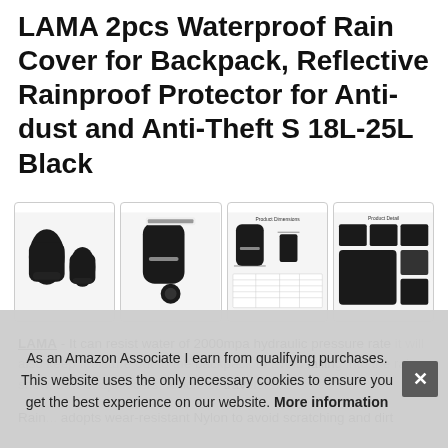LAMA 2pcs Waterproof Rain Cover for Backpack, Reflective Rainproof Protector for Anti-dust and Anti-Theft S 18L-25L Black
[Figure (photo): Four product thumbnail images of LAMA waterproof rain covers for backpacks. First image: two black backpack rain covers; Second image: black rain cover with reflective strip and accessory pouch; Third image: product dimensions diagram; Fourth image: product detail shots showing multiple views.]
LAMA - It can resist water of 2000mpa hydraulic pressure rate, it will also keep moisture out to the backpack to avoid falling into the rain, snow, dew or sprinklers, which for travelers...
Rain... adopts wear-resistant Nylon to avoid scratching and dirt
As an Amazon Associate I earn from qualifying purchases. This website uses the only necessary cookies to ensure you get the best experience on our website. More information